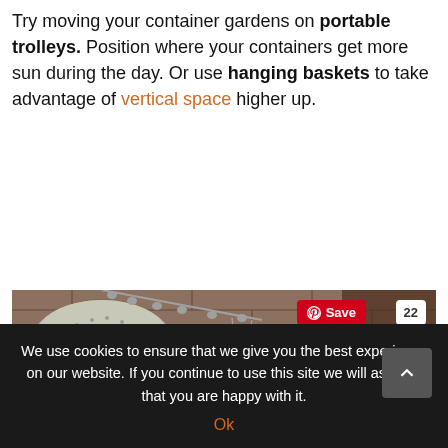Try moving your container gardens on portable trolleys. Position where your containers get more sun during the day. Or use hanging baskets to take advantage of vertical space higher up.
[Figure (photo): A hanging metal colander used as a planter with green basil or herb plant growing from it, suspended by a chain against a stone/brick wall background. A Pinterest 'Save' button overlay with count '22' is visible in the top right.]
We use cookies to ensure that we give you the best experience on our website. If you continue to use this site we will assume that you are happy with it.
Ok